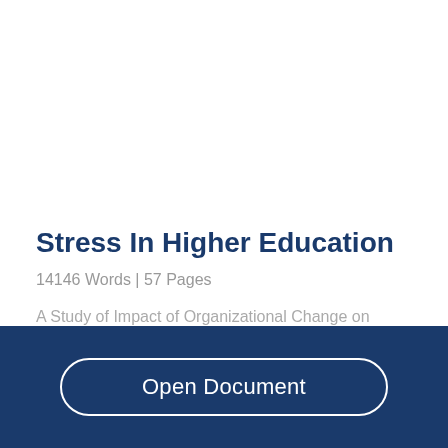Stress In Higher Education
14146 Words  | 57 Pages
A Study of Impact of Organizational Change on
Open Document